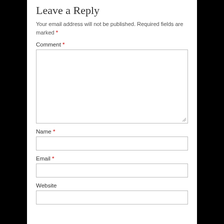Leave a Reply
Your email address will not be published. Required fields are marked *
Comment *
[Figure (other): Large comment textarea input box with resize handle at bottom-right]
Name *
[Figure (other): Name text input field]
Email *
[Figure (other): Email text input field]
Website
[Figure (other): Website text input field (partially visible)]